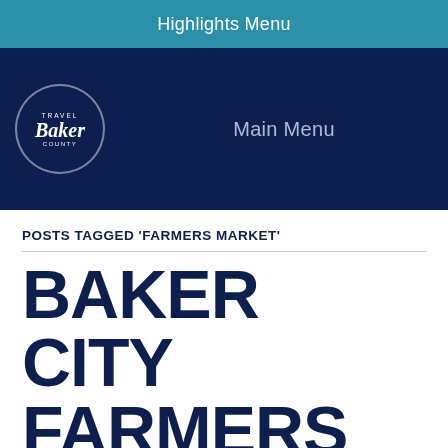Highlights Menu
[Figure (logo): Travel Baker County circular logo with stylized 'Baker' text in white on dark navy background]
Main Menu
POSTS TAGGED 'FARMERS MARKET'
BAKER CITY FARMERS MARKET
October 13, 2021